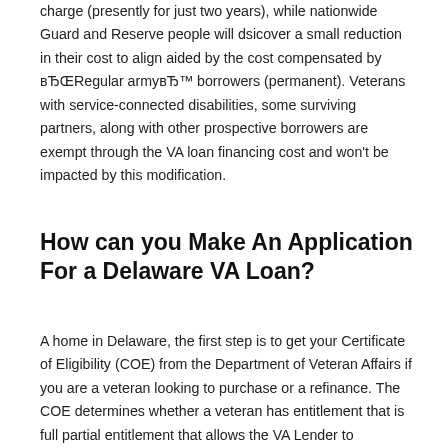charge (presently for just two years), while nationwide Guard and Reserve people will dsicover a small reduction in their cost to align aided by the cost compensated by вЂ‌Regular armyвЂ™ borrowers (permanent). Veterans with service-connected disabilities, some surviving partners, along with other prospective borrowers are exempt through the VA loan financing cost and won't be impacted by this modification.
How can you Make An Application For a Delaware VA Loan?
A home in Delaware, the first step is to get your Certificate of Eligibility (COE) from the Department of Veteran Affairs if you are a veteran looking to purchase or a refinance. The COE determines whether a veteran has entitlement that is full partial entitlement that allows the VA Lender to calculate the most Delaware VA loan amount.